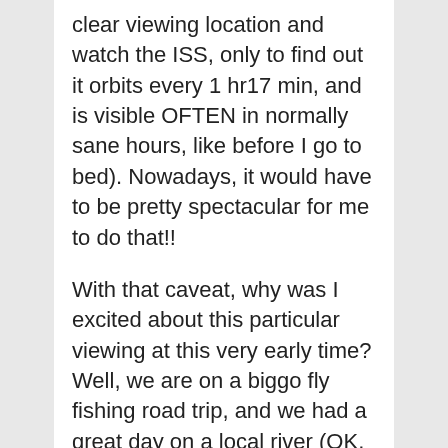clear viewing location and watch the ISS, only to find out it orbits every 1 hr17 min, and is visible OFTEN in normally sane hours, like before I go to bed). Nowadays, it would have to be pretty spectacular for me to do that!!
With that caveat, why was I excited about this particular viewing at this very early time? Well, we are on a biggo fly fishing road trip, and we had a great day on a local river (OK, not really local, but in the adjacent state). I agreed, under great duress, to rise at 3:45 am, drink a cup of coffee, and drive an hour to be on